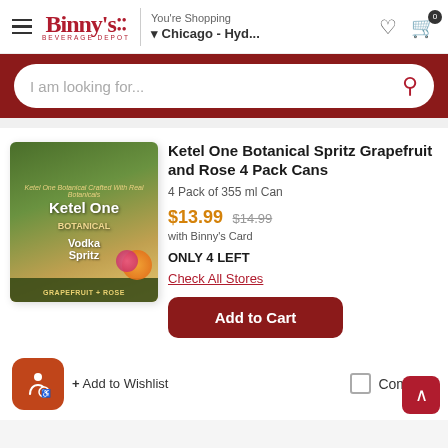Binny's Beverage Depot — You're Shopping Chicago - Hyd...
I am looking for...
[Figure (photo): Ketel One Botanical Vodka Spritz Grapefruit and Rose 4 Pack Cans product box — green and gold box with grapefruit and rose imagery]
Ketel One Botanical Spritz Grapefruit and Rose 4 Pack Cans
4 Pack of 355 ml Can
$13.99 $14.99 with Binny's Card
ONLY 4 LEFT
Check All Stores
Add to Cart
Add to Wishlist
Compare